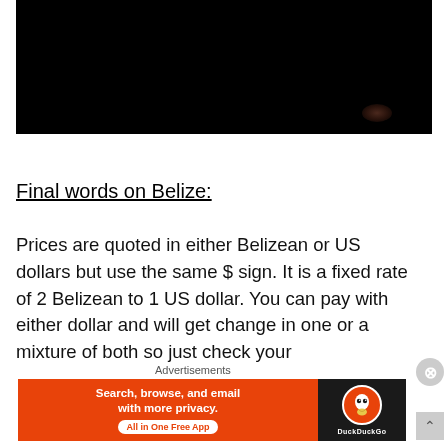[Figure (photo): Dark/black photograph, nearly entirely black with a faint dark reddish glow in the lower right]
Final words on Belize:
Prices are quoted in either Belizean or US dollars but use the same $ sign. It is a fixed rate of 2 Belizean to 1 US dollar. You can pay with either dollar and will get change in one or a mixture of both so just check your
[Figure (screenshot): DuckDuckGo advertisement banner: orange background with text 'Search, browse, and email with more privacy. All in One Free App' and DuckDuckGo logo on dark right panel]
Advertisements